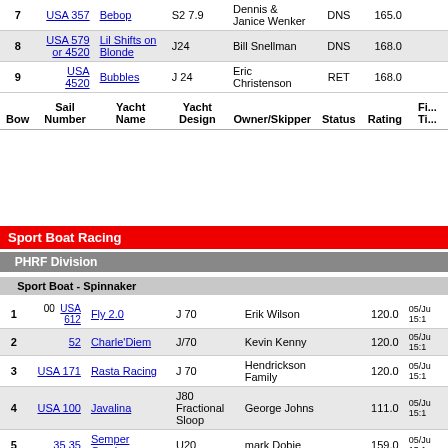| Bow | Sail Number | Yacht Name | Yacht Design | Owner/Skipper | Status | Rating | Fin Ti |
| --- | --- | --- | --- | --- | --- | --- | --- |
| 7 | USA 357 | Bebop | S2 7.9 | Dennis & Janice Wenker | DNS | 165.0 |  |
| 8 | USA 579 or 4520 | Lil Shifts on Blonde | J24 | Bill Snellman | DNS | 168.0 |  |
| 9 | USA 4520 | Bubbles | J 24 | Eric Christenson | RET | 168.0 |  |
Sport Boat Racing
PHRF Division
Sport Boat - Spinnaker
| Bow | Sail Number | Yacht Name | Yacht Design | Owner/Skipper | Status | Rating | Fin Ti |
| --- | --- | --- | --- | --- | --- | --- | --- |
| 1 | 00  USA 612 | Fly 2.0 | J 70 | Erik Wilson |  | 120.0 | 05/Ju 15:1 |
| 2 | 52 | Charle'Diem | J/70 | Kevin Kenny |  | 120.0 | 05/Ju 15:1 |
| 3 | USA 171 | Rasta Racing | J 70 | Hendrickson Family |  | 120.0 | 05/Ju 15:1 |
| 4 | USA 100 | Javalina | J80 Fractional Sloop | George Johns |  | 111.0 | 05/Ju 15:1 |
| 5 | 35 35 | Semper Gumby | U20 | mark Dobie |  | 159.0 | 05/Ju 15:1 |
| 6 | USA 120 OR 4 | BEAST | Audi Melges 20 | Mike Tennant |  | 126.0 | 05/Ju 15:1 |
| 7 | USA 7 | Running With Scissors | U20 | Mike Myers | DNS | 159.0 |  |
| 8 | 149 | Goombay Smash | U20 | Gregg Henning | DNS | 159.0 |  |